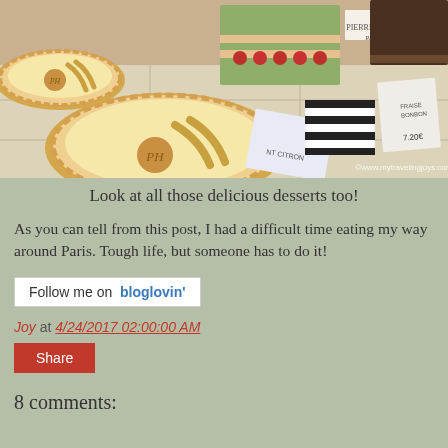[Figure (photo): Photo of Pierre Hermé Paris pastries and desserts in a display case, including tarts with PH monogram and layered strawberry cakes. Watermark: ©www.mytravelingjoys.com]
Look at all those delicious desserts too!
As you can tell from this post, I had a difficult time eating my way around Paris. Tough life, but someone has to do it!
[Figure (logo): Follow me on bloglovin' button/badge]
Joy at 4/24/2017 02:00:00 AM
Share
8 comments: